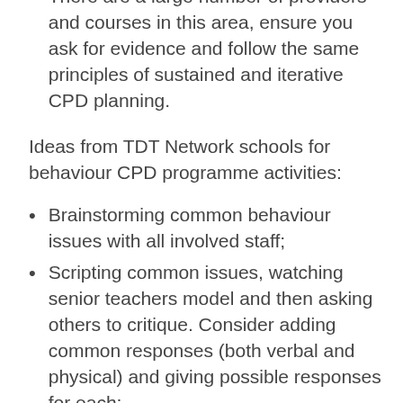There are a large number of providers and courses in this area, ensure you ask for evidence and follow the same principles of sustained and iterative CPD planning.
Ideas from TDT Network schools for behaviour CPD programme activities:
Brainstorming common behaviour issues with all involved staff;
Scripting common issues, watching senior teachers model and then asking others to critique. Consider adding common responses (both verbal and physical) and giving possible responses for each;